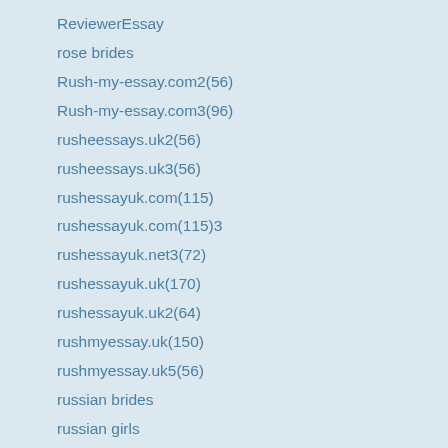ReviewerEssay
rose brides
Rush-my-essay.com2(56)
Rush-my-essay.com3(96)
rusheessays.uk2(56)
rusheessays.uk3(56)
rushessayuk.com(115)
rushessayuk.com(115)3
rushessayuk.net3(72)
rushessayuk.uk(170)
rushessayuk.uk2(64)
rushmyessay.uk(150)
rushmyessay.uk5(56)
russian brides
russian girls
russian mail order bride
russian women
russiansbrides